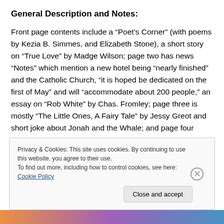General Description and Notes:
Front page contents include a “Poet’s Corner” (with poems by Kezia B. Simmes, and Elizabeth Stone), a short story on “True Love” by Madge Wilson; page two has news “Notes” which mention a new hotel being “nearly finished” and the Catholic Church, “it is hoped be dedicated on the first of May” and will “accommodate about 200 people,” an essay on “Rob White” by Chas. Fromley; page three is mostly “The Little Ones, A Fairy Tale” by Jessy Greot and short joke about Jonah and the Whale; and page four
Privacy & Cookies: This site uses cookies. By continuing to use this website, you agree to their use.
To find out more, including how to control cookies, see here: Cookie Policy
Close and accept